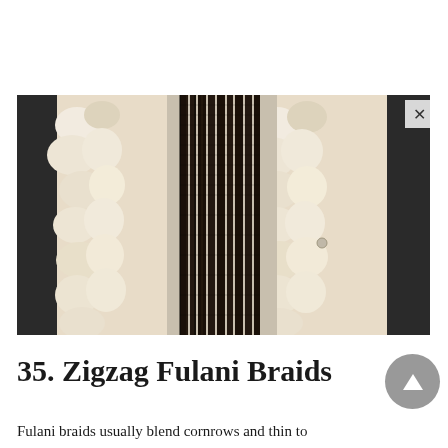[Figure (photo): Close-up photo of a person wearing long black braids (Fulani/box braids) hanging over a fluffy cream/white fur vest or coat, with dark leather jacket sleeves visible on the sides. The braids are tightly done and numerous, falling down the front of the outfit.]
35. Zigzag Fulani Braids
Fulani braids usually blend cornrows and thin to